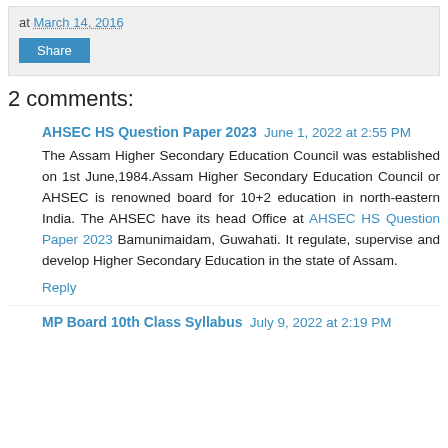at March 14, 2016
Share
2 comments:
AHSEC HS Question Paper 2023  June 1, 2022 at 2:55 PM
The Assam Higher Secondary Education Council was established on 1st June,1984.Assam Higher Secondary Education Council or AHSEC is renowned board for 10+2 education in north-eastern India. The AHSEC have its head Office at AHSEC HS Question Paper 2023 Bamunimaidam, Guwahati. It regulate, supervise and develop Higher Secondary Education in the state of Assam.
Reply
MP Board 10th Class Syllabus  July 9, 2022 at 2:19 PM